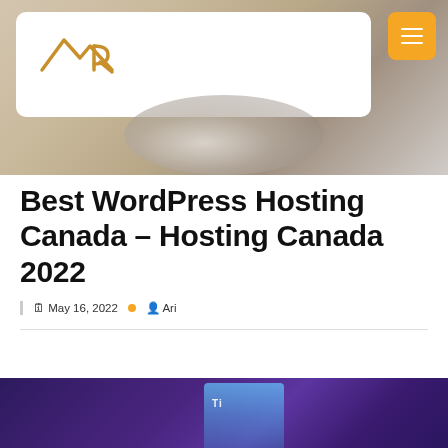[Figure (photo): Header background photo showing shiny chrome/crystal decorative objects on a light beige surface, with a white navigation bar overlay containing a stylized AR logo on the left and an orange hamburger menu button on the right.]
Best WordPress Hosting Canada – Hosting Canada 2022
May 16, 2022  •  Ari
[Figure (photo): Bottom portion of an image showing a glowing blue/cyan screen or tablet against a dark purple background, partially cropped. Text 'Ti...' visible on the screen.]